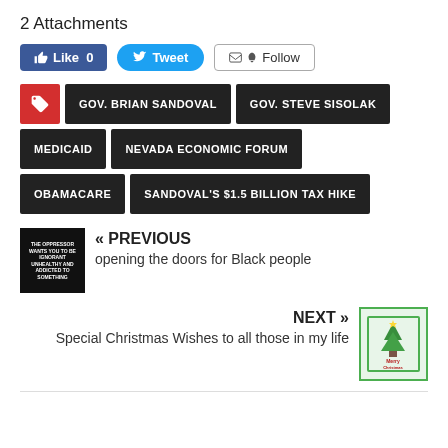2 Attachments
[Figure (infographic): Social media buttons: Like 0 (Facebook), Tweet (Twitter), Follow (email/RSS)]
GOV. BRIAN SANDOVAL
GOV. STEVE SISOLAK
MEDICAID
NEVADA ECONOMIC FORUM
OBAMACARE
SANDOVAL'S $1.5 BILLION TAX HIKE
[Figure (photo): Previous post thumbnail: dark image with text 'THE OPPRESSOR WANTS YOU TO BE IGNORANT UNHEALTHY AND ADDICTED TO SOMETHING']
« PREVIOUS
opening the doors for Black people
NEXT »
Special Christmas Wishes to all those in my life
[Figure (photo): Next post thumbnail: Christmas card with green border and festive design]